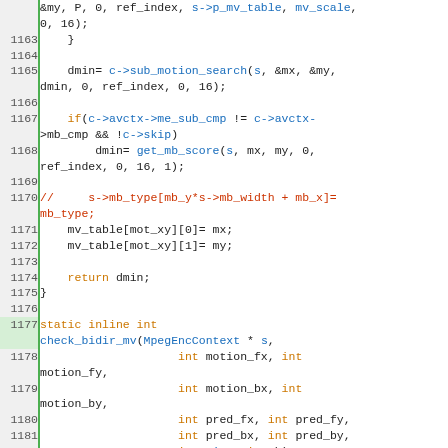[Figure (screenshot): Source code listing showing C code for motion estimation functions, lines 1162-1187, with syntax highlighting and green line-number gutter.]